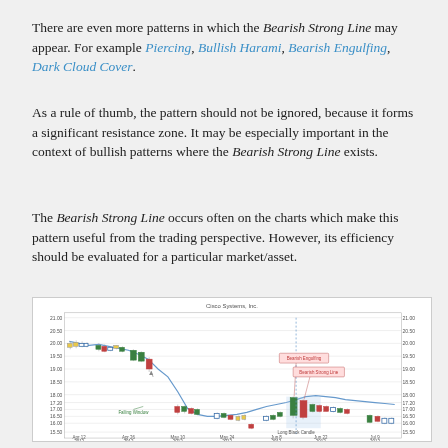There are even more patterns in which the Bearish Strong Line may appear. For example Piercing, Bullish Harami, Bearish Engulfing, Dark Cloud Cover.
As a rule of thumb, the pattern should not be ignored, because it forms a significant resistance zone. It may be especially important in the context of bullish patterns where the Bearish Strong Line exists.
The Bearish Strong Line occurs often on the charts which make this pattern useful from the trading perspective. However, its efficiency should be evaluated for a particular market/asset.
[Figure (continuous-plot): Candlestick chart of Cisco Systems, Inc. showing price action from Apr 2012 to Jul 2012, with annotations for Falling Window, Bearish Engulfing, Bearish Strong Line, and Long Black Candle patterns. Price range approximately 15.50 to 21.00.]